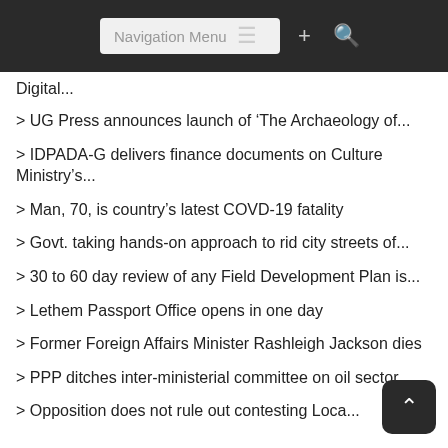Navigation Menu
Digital...
> UG Press announces launch of ‘The Archaeology of...
> IDPADA-G delivers finance documents on Culture Ministry’s...
> Man, 70, is country’s latest COVD-19 fatality
> Govt. taking hands-on approach to rid city streets of...
> 30 to 60 day review of any Field Development Plan is...
> Lethem Passport Office opens in one day
> Former Foreign Affairs Minister Rashleigh Jackson dies
> PPP ditches inter-ministerial committee on oil sector...
> Opposition does not rule out contesting Loca...